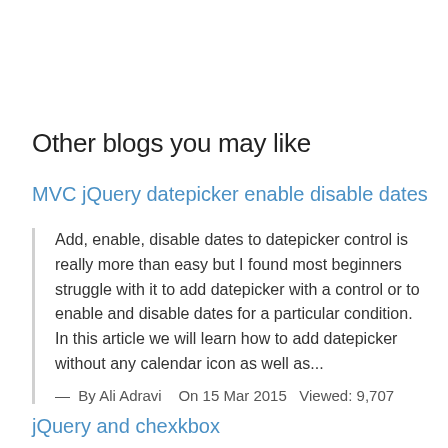Other blogs you may like
MVC jQuery datepicker enable disable dates
Add, enable, disable dates to datepicker control is really more than easy but I found most beginners struggle with it to add datepicker with a control or to enable and disable dates for a particular condition. In this article we will learn how to add datepicker without any calendar icon as well as...
— By Ali Adravi   On 15 Mar 2015  Viewed: 9,707
jQuery and chexkbox